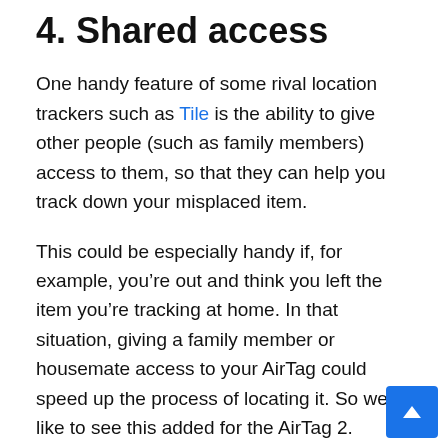4. Shared access
One handy feature of some rival location trackers such as Tile is the ability to give other people (such as family members) access to them, so that they can help you track down your misplaced item.
This could be especially handy if, for example, you’re out and think you left the item you’re tracking at home. In that situation, giving a family member or housemate access to your AirTag could speed up the process of locating it. So we’d like to see this added for the AirTag 2.
5. A lower price